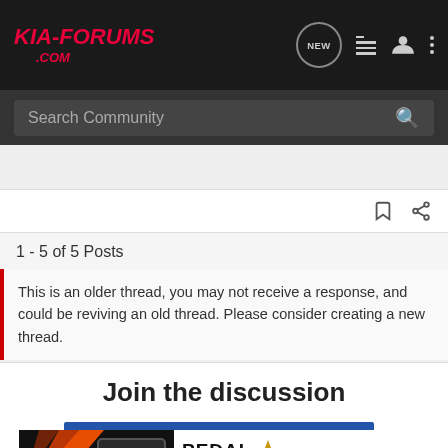KIA-FORUMS.COM
Search Community
1 - 5 of 5 Posts
This is an older thread, you may not receive a response, and could be reviving an old thread. Please consider creating a new thread.
Join the discussion
[Figure (photo): Pedal Commander advertisement banner with orange/black design and product image]